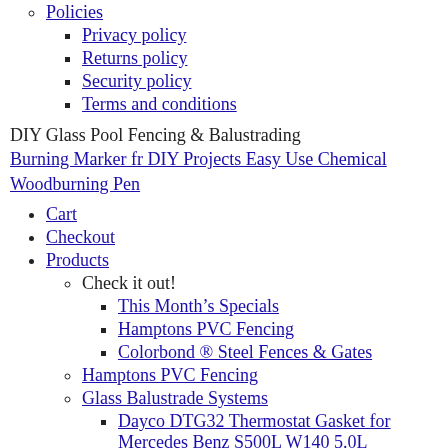Policies
Privacy policy
Returns policy
Security policy
Terms and conditions
DIY Glass Pool Fencing & Balustrading
Burning Marker fr DIY Projects Easy Use Chemical Woodburning Pen
Cart
Checkout
Products
Check it out!
This Month's Specials
Hamptons PVC Fencing
Colorbond ® Steel Fences & Gates
Hamptons PVC Fencing
Glass Balustrade Systems
Dayco DTG32 Thermostat Gasket for Mercedes Benz S500L W140 5.0L
Glass Channel Systems
Rigi Clamps, Glass Clamps & Stainless Steel Posts
Glass Pool Fencing Systems